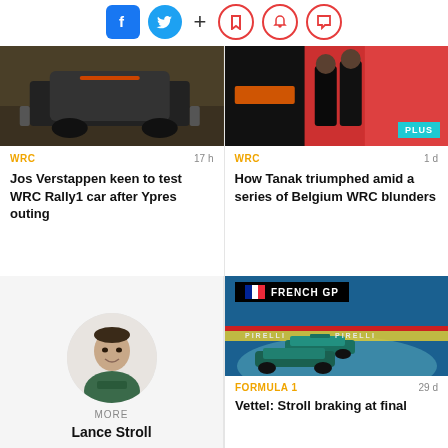[Figure (screenshot): Social media share and notification icons: Facebook (blue), Twitter (cyan), plus sign, bookmark, bell, and chat bubble icons in red outline]
[Figure (photo): Rear view of a rally car on a dirt road - WRC Rally1 car]
WRC
17 h
Jos Verstappen keen to test WRC Rally1 car after Ypres outing
[Figure (photo): Two racing drivers in McLaren orange and black racing suits standing next to a red background, with PLUS badge]
WRC
1 d
How Tanak triumphed amid a series of Belgium WRC blunders
[Figure (photo): Portrait photo of Lance Stroll in Aston Martin racing suit, circular crop on light grey background]
MORE
Lance Stroll
[Figure (photo): Aston Martin F1 cars racing at French GP (Paul Ricard circuit) with FRENCH GP badge overlay and French flag icon]
FORMULA 1
29 d
Vettel: Stroll braking at final